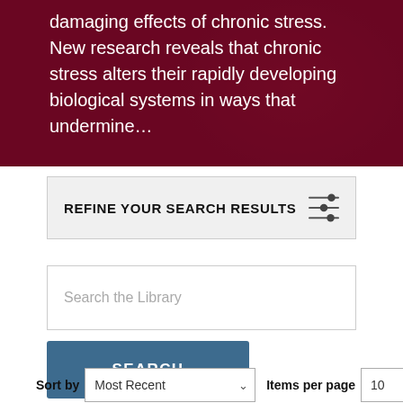[Figure (photo): Dark crimson/maroon hero banner with white text overlay showing partial article text about chronic stress effects on children]
damaging effects of chronic stress. New research reveals that chronic stress alters their rapidly developing biological systems in ways that undermine…
REFINE YOUR SEARCH RESULTS
[Figure (other): Sliders/filter icon with three horizontal lines and adjustment dots]
[Figure (screenshot): Search input box with placeholder text 'Search the Library']
Search the Library
SEARCH
Sort by Most Recent Items per page 10